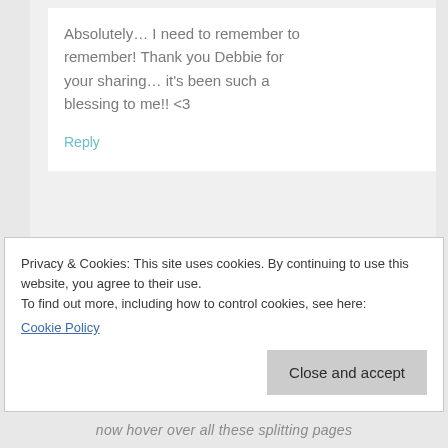Absolutely… I need to remember to remember! Thank you Debbie for your sharing… it's been such a blessing to me!! <3
Reply
Privacy & Cookies: This site uses cookies. By continuing to use this website, you agree to their use.
To find out more, including how to control cookies, see here: Cookie Policy
Close and accept
now hover over all these splitting pages